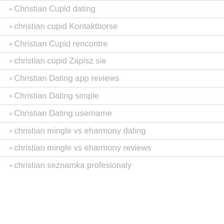Christian Cupid dating
christian cupid Kontaktborse
Christian Cupid rencontre
christian cupid Zapisz sie
Christian Dating app reviews
Christian Dating simple
Christian Dating username
christian mingle vs eharmony dating
christian mingle vs eharmony reviews
christian seznamka profesionaly